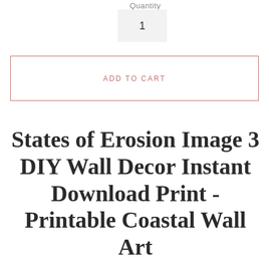Quantity
1
ADD TO CART
States of Erosion Image 3 DIY Wall Decor Instant Download Print - Printable Coastal Wall Art